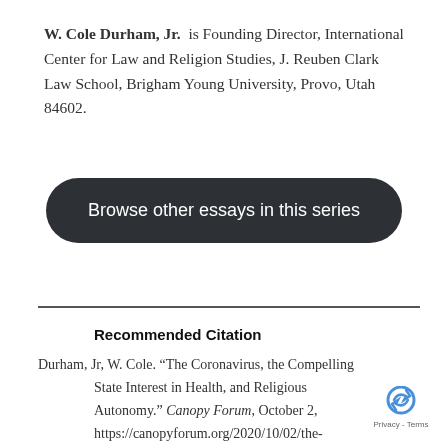W. Cole Durham, Jr. is Founding Director, International Center for Law and Religion Studies, J. Reuben Clark Law School, Brigham Young University, Provo, Utah 84602.
[Figure (other): Dark rounded rectangle button with white text reading 'Browse other essays in this series']
Recommended Citation
Durham, Jr, W. Cole. “The Coronavirus, the Compelling State Interest in Health, and Religious Autonomy.” Canopy Forum, October 2, https://canopyforum.org/2020/10/02/the-